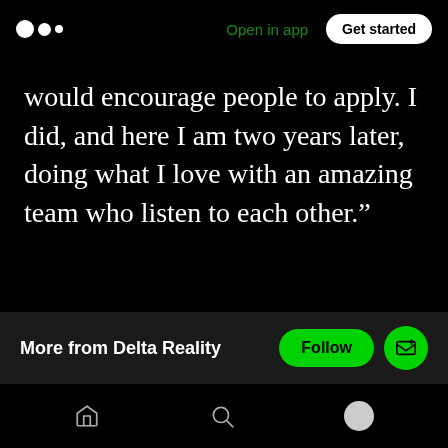Medium logo | Open in app | Get started
would encourage people to apply. I did, and here I am two years later, doing what I love with an amazing team who listen to each other.”
[Figure (screenshot): Article action bar with clap icon showing 1, comment icon, share icon, and bookmark icon]
[Figure (screenshot): Pill-shaped floating action bar with clap icon showing 1 and comment icon]
More from Delta Reality
[Figure (screenshot): Green Follow button and green subscribe/email button]
Navigation bar with home, search, and profile icons